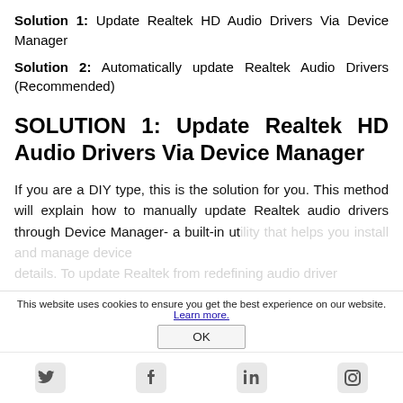Solution 1: Update Realtek HD Audio Drivers Via Device Manager
Solution 2: Automatically update Realtek Audio Drivers (Recommended)
SOLUTION 1: Update Realtek HD Audio Drivers Via Device Manager
If you are a DIY type, this is the solution for you. This method will explain how to manually update Realtek audio drivers through Device Manager- a built-in utility that helps you install and manage device details. To update Realtek from redefining audio driver
This website uses cookies to ensure you get the best experience on our website. Learn more.
OK